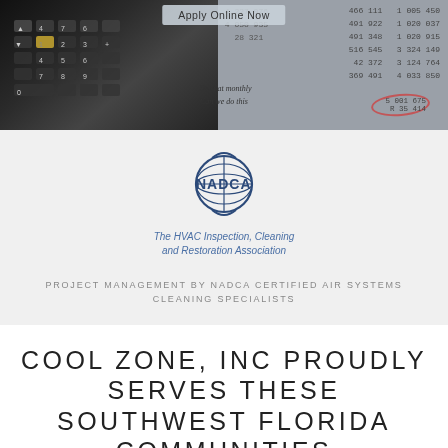[Figure (photo): Banner image showing a calculator on the left dark background and financial numbers/handwriting on the right grey background, with an 'Apply Online Now' button overlaid at the top center]
[Figure (logo): NADCA logo - globe icon with NADCA text in dark blue, tagline 'The HVAC Inspection, Cleaning and Restoration Association' in blue italic]
PROJECT MANAGEMENT BY NADCA CERTIFIED AIR SYSTEMS CLEANING SPECIALISTS
COOL ZONE, INC PROUDLY SERVES THESE SOUTHWEST FLORIDA COMMUNITIES
NAPLES     GOLDEN GATE     LELY RESORT